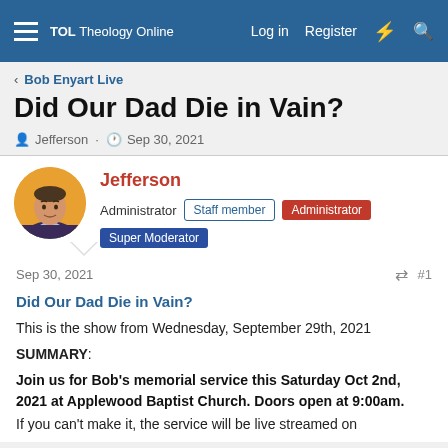TOL Theology Online  Log in  Register
Bob Enyart Live
Did Our Dad Die in Vain?
Jefferson · Sep 30, 2021
Jefferson
Administrator  Staff member  Administrator  Super Moderator
Sep 30, 2021  #1
Did Our Dad Die in Vain?
This is the show from Wednesday, September 29th, 2021
SUMMARY:
Join us for Bob's memorial service this Saturday Oct 2nd, 2021 at Applewood Baptist Church. Doors open at 9:00am.
If you can't make it, the service will be live streamed on